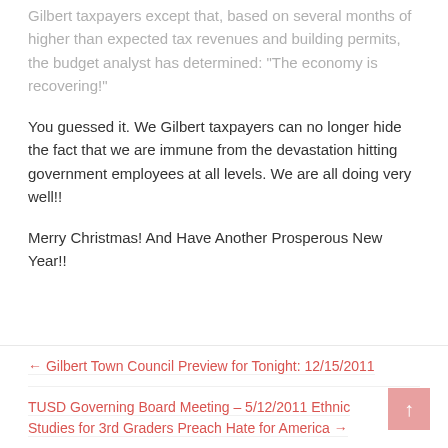Gilbert taxpayers except that, based on several months of higher than expected tax revenues and building permits, the budget analyst has determined: "The economy is recovering!"
You guessed it. We Gilbert taxpayers can no longer hide the fact that we are immune from the devastation hitting government employees at all levels. We are all doing very well!!
Merry Christmas! And Have Another Prosperous New Year!!
← Gilbert Town Council Preview for Tonight: 12/15/2011
TUSD Governing Board Meeting – 5/12/2011 Ethnic Studies for 3rd Graders Preach Hate for America →